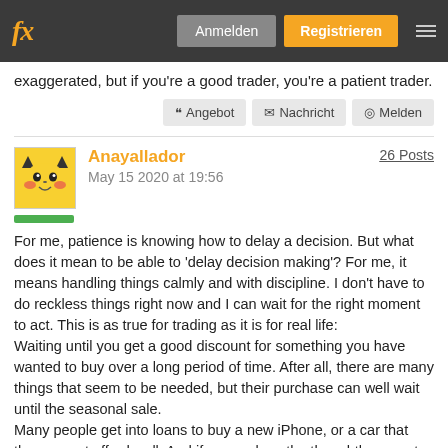fx | Anmelden | Registrieren
exaggerated, but if you're a good trader, you're a patient trader.
Angebot | Nachricht | Melden
Anayallador
May 15 2020 at 19:56
26 Posts
For me, patience is knowing how to delay a decision. But what does it mean to be able to 'delay decision making'? For me, it means handling things calmly and with discipline. I don't have to do reckless things right now and I can wait for the right moment to act. This is as true for trading as it is for real life:
Waiting until you get a good discount for something you have wanted to buy over a long period of time. After all, there are many things that seem to be needed, but their purchase can well wait until the seasonal sale.
Many people get into loans to buy a new iPhone, or a car that they cannot afford well. And if you replace the thoughtless waste on waiting, you can save the right amount and buy a newer model. Another plus is that after a couple of months you may suddenly realize that you don't really need the new iPhone...).